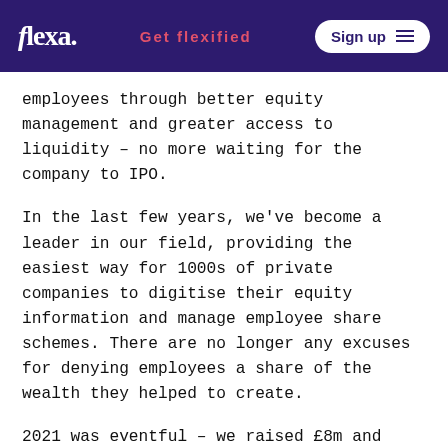flexa. | Get flexified | Sign up
employees through better equity management and greater access to liquidity – no more waiting for the company to IPO.
In the last few years, we've become a leader in our field, providing the easiest way for 1000s of private companies to digitise their equity information and manage employee share schemes. There are no longer any excuses for denying employees a share of the wealth they helped to create.
2021 was eventful – we raised £8m and launched in multiple new European markets – but we've set our sights even higher for 2022 and we're counting on every new joiner to help us get there. We're staying as lean as possible, so every hire matters.